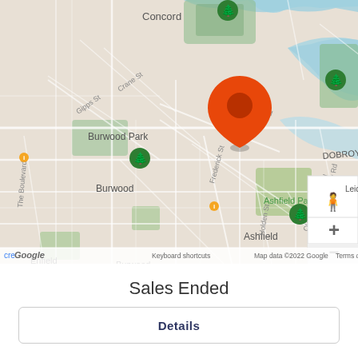[Figure (map): Google Maps screenshot centered on Dobroyd Point area in Sydney, Australia. Shows suburbs including Concord, Burwood Park, Burwood, Enfield, Burwood Heights, Croydon Park, Ashfield, Ashfield Park, Dobroyd Point, Rodd Point, Russell Lea, Leichhardt, Petersham. An orange location pin marker is placed near the Dock area. Map includes street names, parks, waterways, and Google Maps UI controls including pegman, zoom in (+) and zoom out (-) buttons. Footer shows 'Keyboard shortcuts', 'Map data ©2022 Google', 'Terms of Use'.]
Sales Ended
Details